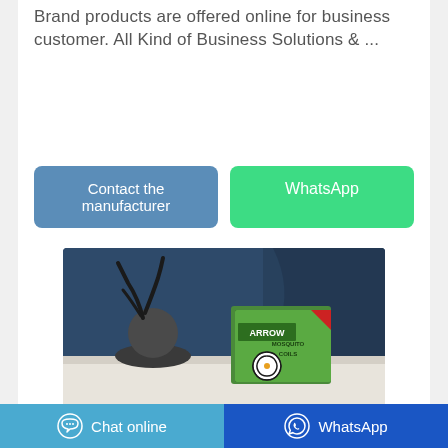Brand products are offered online for business customer. All Kind of Business Solutions & ...
Contact the manufacturer
WhatsApp
[Figure (photo): Product photo showing Arrow Mosquito Coils box on a white surface with a dark vase in the background against a blue-grey backdrop]
Chat online | WhatsApp